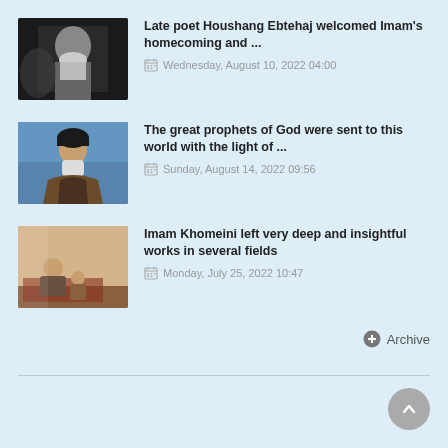[Figure (photo): Black and white photo of an elderly bearded man]
Late poet Houshang Ebtehaj welcomed Imam's homecoming and ...
Wednesday, August 10, 2022 04:00
[Figure (photo): Portrait painting of Imam Khomeini in traditional clerical robes against blue background]
The great prophets of God were sent to this world with the light of ...
Sunday, August 14, 2022 09:56
[Figure (photo): Painting showing a woman and child in traditional setting]
Imam Khomeini left very deep and insightful works in several fields
Monday, July 25, 2022 10:47
Archive